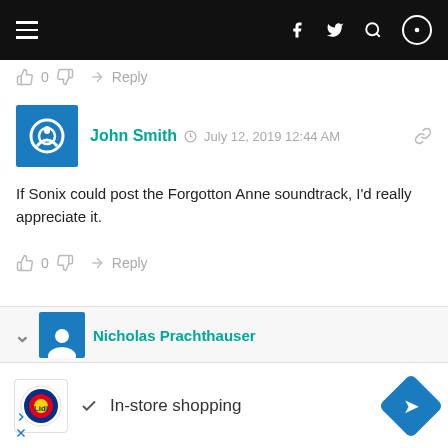Navigation bar with hamburger menu and social/search icons
👍 0 👎 → Reply
John Smith  July 12, 2019 12:44 AM
If Sonix could post the Forgotton Anne soundtrack, I'd really appreciate it.
👍 0 👎 → Reply
Nicholas Prachthauser
In-store shopping